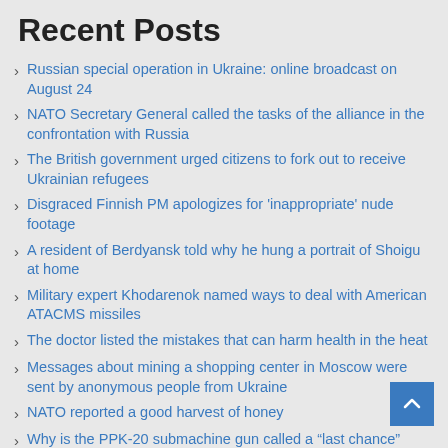Recent Posts
Russian special operation in Ukraine: online broadcast on August 24
NATO Secretary General called the tasks of the alliance in the confrontation with Russia
The British government urged citizens to fork out to receive Ukrainian refugees
Disgraced Finnish PM apologizes for 'inappropriate' nude footage
A resident of Berdyansk told why he hung a portrait of Shoigu at home
Military expert Khodarenok named ways to deal with American ATACMS missiles
The doctor listed the mistakes that can harm health in the heat
Messages about mining a shopping center in Moscow were sent by anonymous people from Ukraine
NATO reported a good harvest of honey
Why is the PPK-20 submachine gun called a “last chance” weapon?
Dozens lay down outside the US embassy as part of an action